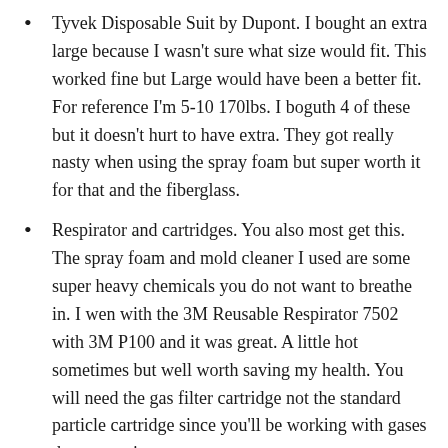Tyvek Disposable Suit by Dupont. I bought an extra large because I wasn't sure what size would fit. This worked fine but Large would have been a better fit. For reference I'm 5-10 170lbs. I boguth 4 of these but it doesn't hurt to have extra. They got really nasty when using the spray foam but super worth it for that and the fiberglass.
Respirator and cartridges. You also most get this. The spray foam and mold cleaner I used are some super heavy chemicals you do not want to breathe in. I wen with the 3M Reusable Respirator 7502 with 3M P100 and it was great. A little hot sometimes but well worth saving my health. You will need the gas filter cartridge not the standard particle cartridge since you'll be working with gases that are toxic.
I had some basic mold to take care of. During research, you can either buy basically a smoke